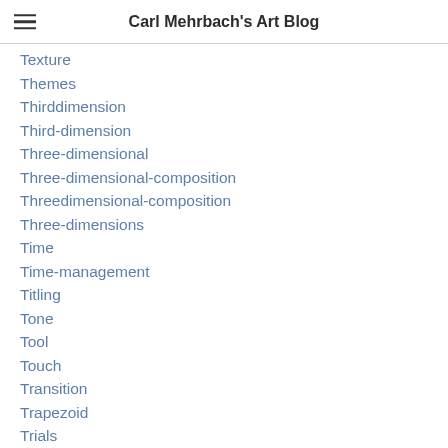Carl Mehrbach's Art Blog
Texture
Themes
Thirddimension
Third-dimension
Three-dimensional
Three-dimensional-composition
Threedimensional-composition
Three-dimensions
Time
Time-management
Titling
Tone
Tool
Touch
Transition
Trapezoid
Trials
Triangle